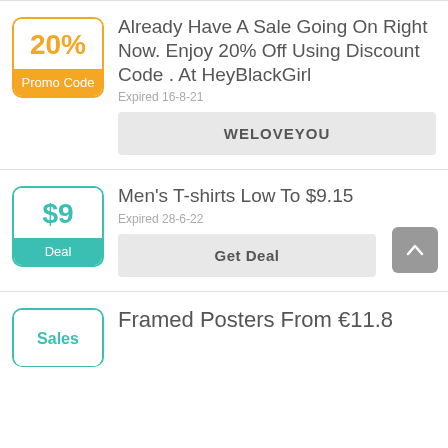[Figure (infographic): Promo code badge showing 20% in orange with 'Promo Code' label]
Already Have A Sale Going On Right Now. Enjoy 20% Off Using Discount Code . At HeyBlackGirl
Expired 16-8-21
WELOVEYOU
[Figure (infographic): Deal badge showing $9 in teal with 'Deal' label]
Men's T-shirts Low To $9.15
Expired 28-6-22
Get Deal
[Figure (infographic): Deal badge showing 'Sales' in teal]
Framed Posters From €11.8